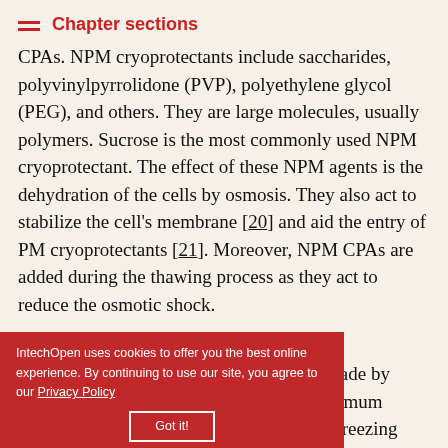Chapter sections
CPAs. NPM cryoprotectants include saccharides, polyvinylpyrrolidone (PVP), polyethylene glycol (PEG), and others. They are large molecules, usually polymers. Sucrose is the most commonly used NPM cryoprotectant. The effect of these NPM agents is the dehydration of the cells by osmosis. They also act to stabilize the cell's membrane [20] and aid the entry of PM cryoprotectants [21]. Moreover, NPM CPAs are added during the thawing process as they act to reduce the osmotic shock.
IntechOpen uses cookies to offer you the best online experience. By continuing to use our site, you agree to our Privacy Policy Got it!
...media produced by biotechnology companies, which are made by mixing various substances to achieve maximum cryoprotection. The composition of these freezing media varies greatly, since there is no "perfect formula" and therefore the search goes on.